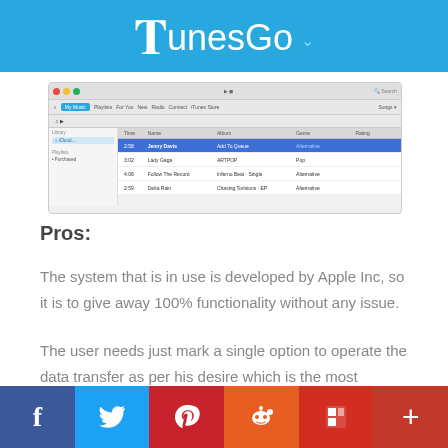TunesGo
[Figure (screenshot): iTunes application screenshot showing My Music tab with a list of songs including Jenny Davis, Lady Gaga, Follow The Record, and Delta Rain]
Pros:
The system that is in use is developed by Apple Inc, so it is to give away 100% functionality without any issue.
The user needs just mark a single option to operate the data transfer as per his desire which is the most important thing of all.
Social sharing buttons: Facebook, Twitter, Pinterest, Reddit, Flipboard, More